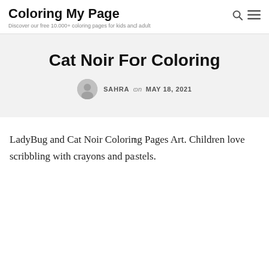Coloring My Page
Discover our free 10.000+ coloring pages for kids and adult
Cat Noir For Coloring
SAHRA on MAY 18, 2021
LadyBug and Cat Noir Coloring Pages Art. Children love scribbling with crayons and pastels.